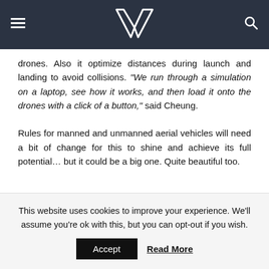VR logo with hamburger menu and search icon
drones. Also it optimize distances during launch and landing to avoid collisions. "We run through a simulation on a laptop, see how it works, and then load it onto the drones with a click of a button," said Cheung.
Rules for manned and unmanned aerial vehicles will need a bit of change for this to shine and achieve its full potential… but it could be a big one. Quite beautiful too.
TAGS:
#500 Drone
#AscTec
#Campfire
This website uses cookies to improve your experience. We'll assume you're ok with this, but you can opt-out if you wish.